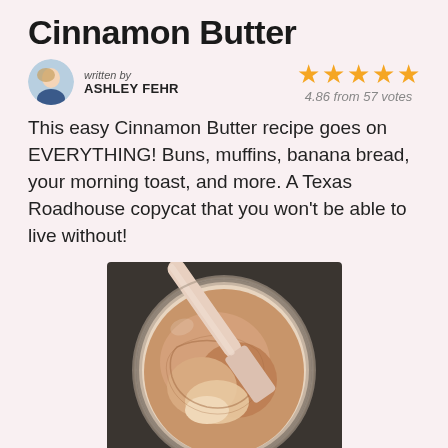Cinnamon Butter
written by ASHLEY FEHR
4.86 from 57 votes
This easy Cinnamon Butter recipe goes on EVERYTHING! Buns, muffins, banana bread, your morning toast, and more. A Texas Roadhouse copycat that you won't be able to live without!
[Figure (photo): Top-down view of a glass jar filled with whipped cinnamon butter, with a pink/light wooden spatula resting across the jar, on a dark surface]